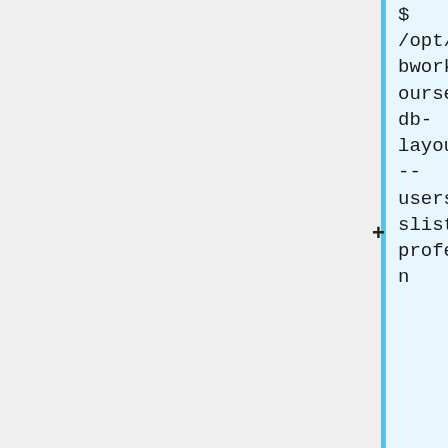[Figure (screenshot): A diff/comparison view showing two code boxes. The top box (blue border, light blue background) shows a command: '$ /opt/webwork/webwork2/bin/addcourse admin --db-layout=sql_single --users=adminClasslist.lst --professors=admin' with a '+' icon on its left edge. The bottom box (yellow border, light yellow background) shows the same command prefixed with '#' instead of '$', with a '-' icon on its left edge. A vertical blue line separates the left gray panel from the right content area.]